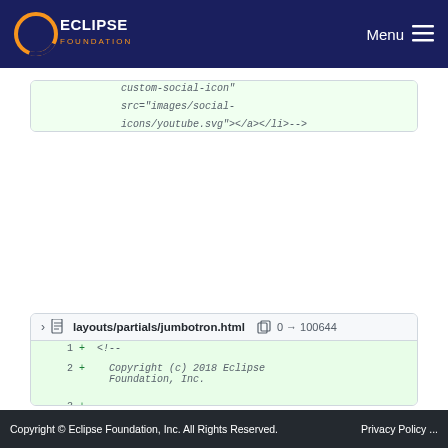Eclipse Foundation — Menu
[Figure (screenshot): Git diff code viewer showing lines 44-49 with added HTML code including </ul>, </div>, {{ end }}, </header>, </div> tags, and a comment block for custom-social-icon src]
[Figure (screenshot): Git diff code viewer for layouts/partials/jumbotron.html (0 → 100644) showing lines 1-4 with copyright comment block starting with <!-- Copyright (c) 2018 Eclipse Foundation, Inc. and This program and the accompanying materials are made available under the]
Copyright © Eclipse Foundation, Inc. All Rights Reserved. Privacy Policy ...